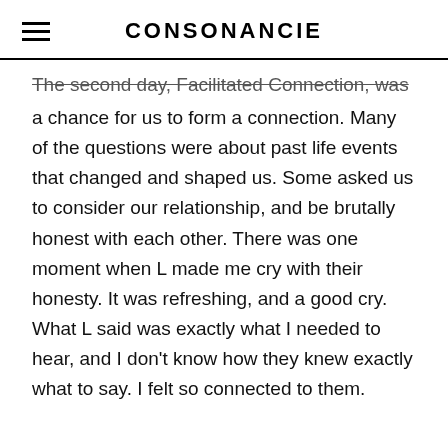CONSONANCIE
The second day, Facilitated Connection, was a chance for us to form a connection. Many of the questions were about past life events that changed and shaped us. Some asked us to consider our relationship, and be brutally honest with each other. There was one moment when L made me cry with their honesty. It was refreshing, and a good cry. What L said was exactly what I needed to hear, and I don't know how they knew exactly what to say. I felt so connected to them.